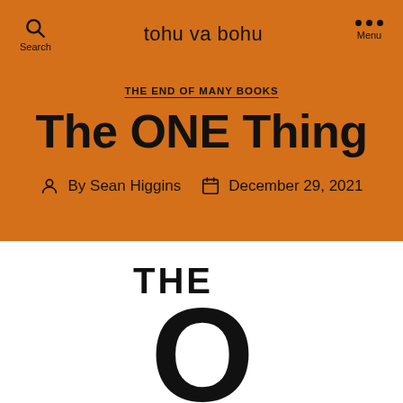tohu va bohu
THE END OF MANY BOOKS
The ONE Thing
By Sean Higgins   December 29, 2021
[Figure (illustration): Partial book cover showing the text 'THE' and the top of a large letter 'O' in black on white background]